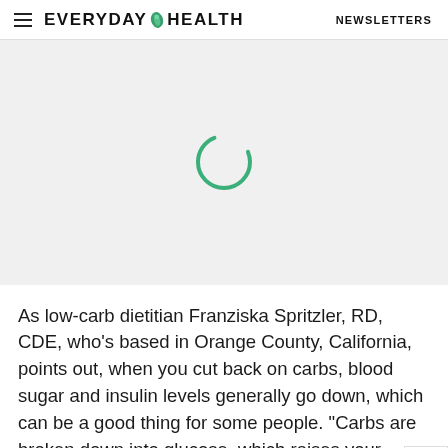EVERYDAY HEALTH   NEWSLETTERS
[Figure (other): Loading spinner (animated circle) over a light gray advertisement placeholder area]
As low-carb dietitian Franziska Spritzler, RD, CDE, who’s based in Orange County, California, points out, when you cut back on carbs, blood sugar and insulin levels generally go down, which can be a good thing for some people. “Carbs are broken down into glucose, which raises your blood sugar and prompts